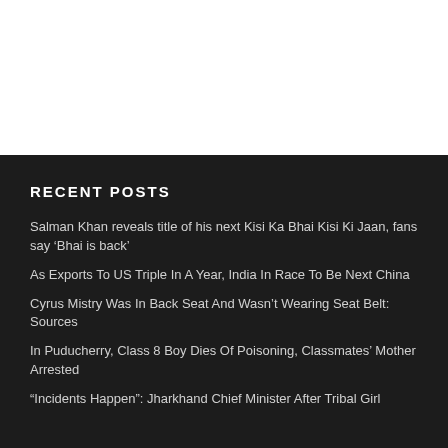RECENT POSTS
Salman Khan reveals title of his next Kisi Ka Bhai Kisi Ki Jaan, fans say ‘Bhai is back’
As Exports To US Triple In A Year, India In Race To Be Next China
Cyrus Mistry Was In Back Seat And Wasn’t Wearing Seat Belt: Sources
In Puducherry, Class 8 Boy Dies Of Poisoning, Classmates’ Mother Arrested
“Incidents Happen”: Jharkhand Chief Minister After Tribal Girl